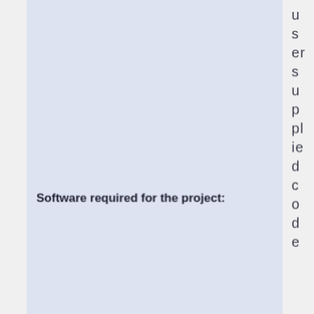Software required for the project:
usersupplied code
pyani: https://gi